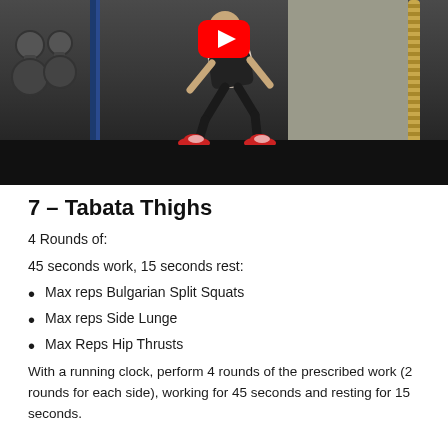[Figure (photo): A person performing a squat exercise in a gym with a power rack, rope, and kettlebells visible. A YouTube play button overlay is visible at the top center of the image.]
7 – Tabata Thighs
4 Rounds of:
45 seconds work, 15 seconds rest:
Max reps Bulgarian Split Squats
Max reps Side Lunge
Max Reps Hip Thrusts
With a running clock, perform 4 rounds of the prescribed work (2 rounds for each side), working for 45 seconds and resting for 15 seconds.